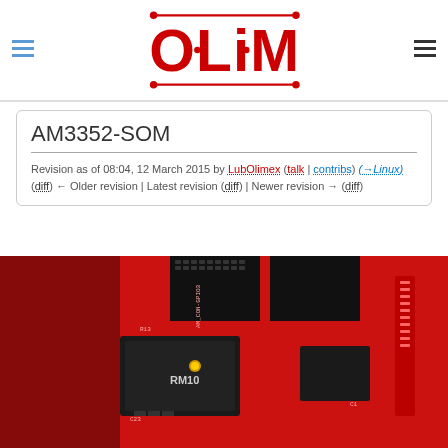Olimex logo with hamburger menus
AM3352-SOM
Revision as of 08:04, 12 March 2015 by LubOlimex (talk | contribs) (→Linux)
(diff) ← Older revision | Latest revision (diff) | Newer revision → (diff)
[Figure (photo): Close-up photo of a red AM3352-SOM circuit board with black pin headers and visible ICs including one labeled RM10]